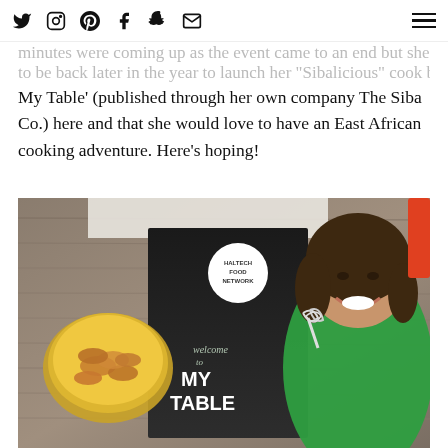Social media navigation icons and hamburger menu
My Table' (published through her own company The Siba Co.) here and that she would love to have an East African cooking adventure. Here's hoping!
[Figure (photo): Photo of a smiling woman in a green top holding a whisk, next to a black cookbook titled 'Welcome to My Table' with a food network logo, and a golden bowl of snacks on a wooden table background.]